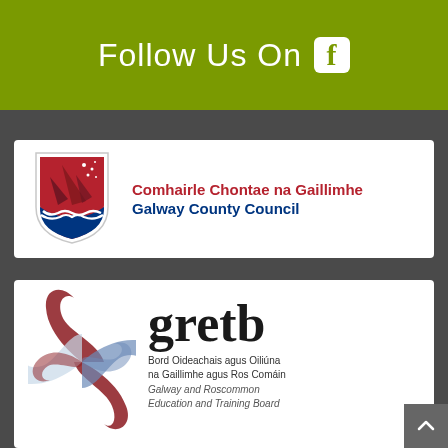Follow Us On
[Figure (logo): Galway County Council logo with shield emblem and bilingual text: Comhairle Chontae na Gaillimhe / Galway County Council]
[Figure (logo): GRETB logo with swirl emblem and text: gretb / Bord Oideachais agus Oiliúna na Gaillimhe agus Ros Comáin / Galway and Roscommon Education and Training Board]